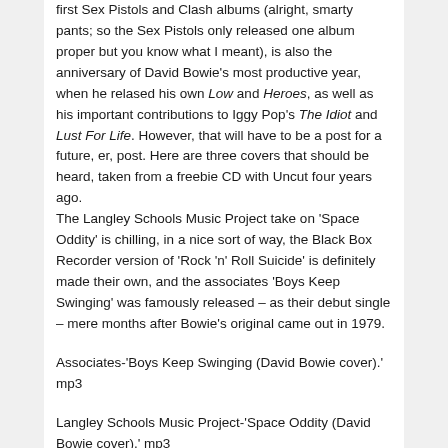first Sex Pistols and Clash albums (alright, smarty pants; so the Sex Pistols only released one album proper but you know what I meant), is also the anniversary of David Bowie's most productive year, when he relased his own Low and Heroes, as well as his important contributions to Iggy Pop's The Idiot and Lust For Life. However, that will have to be a post for a future, er, post. Here are three covers that should be heard, taken from a freebie CD with Uncut four years ago.
The Langley Schools Music Project take on 'Space Oddity' is chilling, in a nice sort of way, the Black Box Recorder version of 'Rock 'n' Roll Suicide' is definitely made their own, and the associates 'Boys Keep Swinging' was famously released – as their debut single – mere months after Bowie's original came out in 1979.
Associates-'Boys Keep Swinging (David Bowie cover).' mp3
Langley Schools Music Project-'Space Oddity (David Bowie cover).' mp3